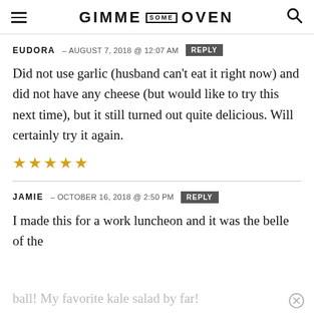GIMME SOME OVEN
EUDORA — AUGUST 7, 2018 @ 12:07 AM  REPLY
Did not use garlic (husband can't eat it right now) and did not have any cheese (but would like to try this next time), but it still turned out quite delicious. Will certainly try it again.
★★★★★
JAMIE — OCTOBER 16, 2018 @ 2:50 PM  REPLY
I made this for a work luncheon and it was the belle of the ball! My favorite kale salad by far!